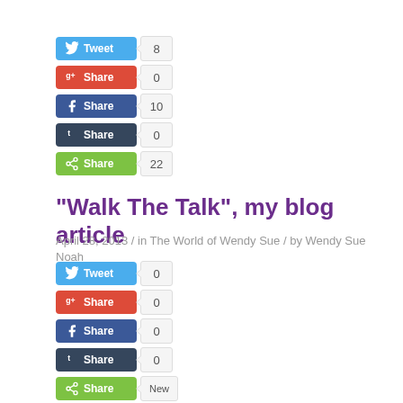[Figure (screenshot): Social share buttons group 1: Tweet (8), Share/G+ (0), Share/Facebook (10), Share/Tumblr (0), Share/Other (22)]
“Walk The Talk”, my blog article
April 28, 2013 / in The World of Wendy Sue / by Wendy Sue Noah
[Figure (screenshot): Social share buttons group 2: Tweet (0), Share/G+ (0), Share/Facebook (0), Share/Tumblr (0), Share/Other (New)]